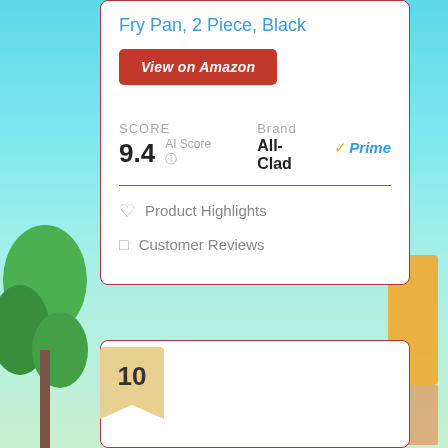Fry Pan, 2 Piece, Black
View on Amazon
SCORE
9.4 AI Score
Brand
All-Clad
Prime
Product Highlights
Customer Reviews
10